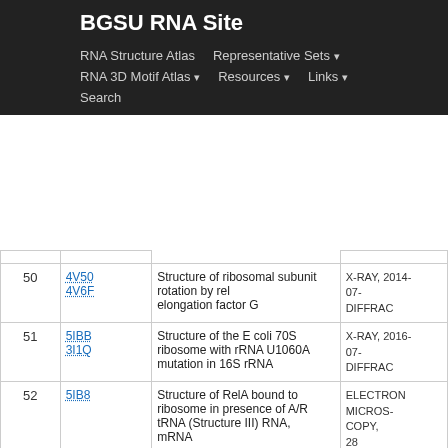BGSU RNA Site
RNA Structure Atlas | Representative Sets | RNA 3D Motif Atlas | Resources | Links | Search
| # | ID | Description | Meta |
| --- | --- | --- | --- |
| 50 | 4V50 / 4V6F | Structure of ribosomal subunit rotation by release/elongation factor G | X-RAY, 2014-07-09, DIFFRAC... |
| 51 | 5IBB / 3I1Q / ... | Structure of the E coli 70S ribosome with rRNA U1060A mutation in 16S rRNA | X-RAY, 2016-07-09, DIFFRAC... |
| 52 | 5IB8 / ... | Structure of RelA bound to ribosome in presence of A/R tRNA (Structure III) RNA, mRNA | ELECTRON MICROSCOPY, 2016-09-28 |
| 53 | 5FCI / ... | Structure of E. coli ribosome-EF-TU ... | ELECTRON MICROSCOPY, 2015-... |